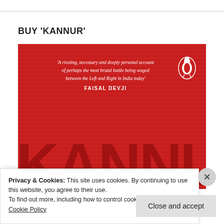BUY 'KANNUR'
[Figure (photo): Book cover of 'Kannur' published by Penguin. Red background with horizontal stripe texture. Quote text: 'A riveting, necessary and deeply personal account of perhaps the most brutal battle being waged between the Left and Right in India today' FAISAL DEVJI. Penguin logo top right. Large dark red 'KANNUR' text at bottom.]
Privacy & Cookies: This site uses cookies. By continuing to use this website, you agree to their use.
To find out more, including how to control cookies, see here: Cookie Policy
Close and accept